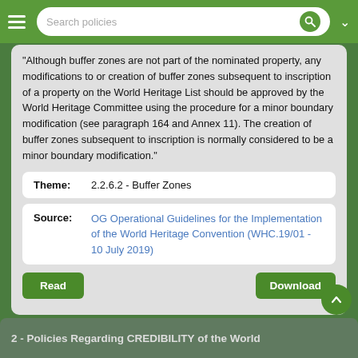Search policies
"Although buffer zones are not part of the nominated property, any modifications to or creation of buffer zones subsequent to inscription of a property on the World Heritage List should be approved by the World Heritage Committee using the procedure for a minor boundary modification (see paragraph 164 and Annex 11). The creation of buffer zones subsequent to inscription is normally considered to be a minor boundary modification."
Theme: 2.2.6.2 - Buffer Zones
Source: OG Operational Guidelines for the Implementation of the World Heritage Convention (WHC.19/01 - 10 July 2019)
Read
Download
2 - Policies Regarding CREDIBILITY of the World